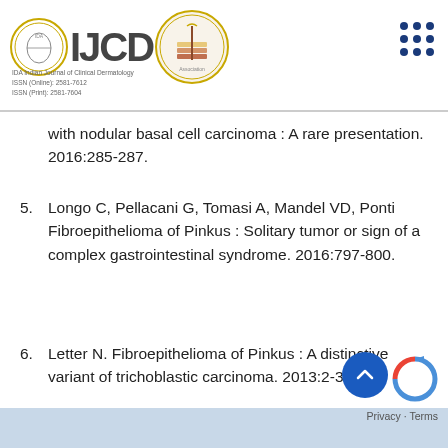IJCD - Indian Journal of Clinical Dermatology
with nodular basal cell carcinoma : A rare presentation. 2016:285-287.
5. Longo C, Pellacani G, Tomasi A, Mandel VD, Ponti Fibroepithelioma of Pinkus : Solitary tumor or sign of a complex gastrointestinal syndrome. 2016:797-800.
6. Letter N. Fibroepithelioma of Pinkus : A distinctive variant of trichoblastic carcinoma. 2013:2-3.